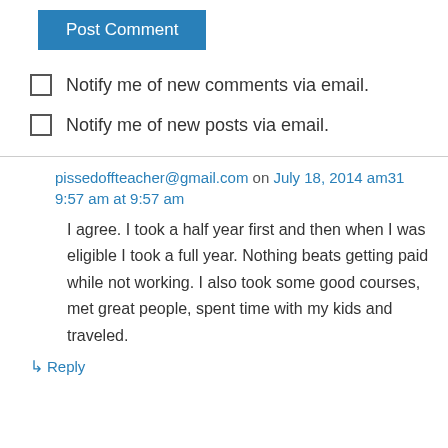Post Comment
Notify me of new comments via email.
Notify me of new posts via email.
pissedoffteacher@gmail.com on July 18, 2014 am31 9:57 am at 9:57 am
I agree. I took a half year first and then when I was eligible I took a full year. Nothing beats getting paid while not working. I also took some good courses, met great people, spent time with my kids and traveled.
↳ Reply